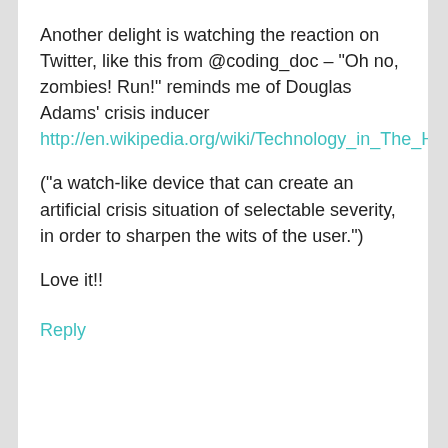Another delight is watching the reaction on Twitter, like this from @coding_doc – "Oh no, zombies! Run!" reminds me of Douglas Adams' crisis inducer http://en.wikipedia.org/wiki/Technology_in_The_Hitchhiker's_Guide_to_the_Galaxy#Crisis_Inducer
("a watch-like device that can create an artificial crisis situation of selectable severity, in order to sharpen the wits of the user.")
Love it!!
Reply